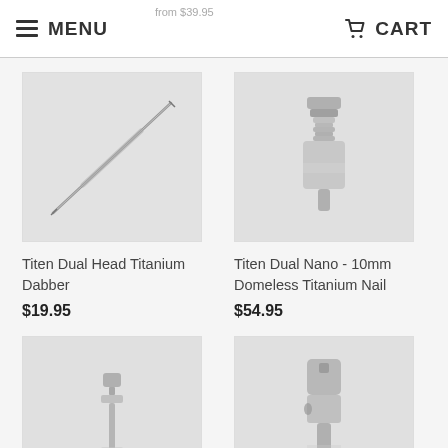MENU  CART
[Figure (photo): Titen Dual Head Titanium Dabber product photo - a thin pointed metal tool]
Titen Dual Head Titanium Dabber
$19.95
[Figure (photo): Titen Dual Nano 10mm Domeless Titanium Nail product photo - a metal nail with ridged top]
Titen Dual Nano - 10mm Domeless Titanium Nail
$54.95
[Figure (photo): Titen Max 10mm Dome Titanium Nail product photo - small metal nail piece]
Titen Max - 10mm Dome Titanium Nail
Sold Out
[Figure (photo): Titen Max 14mm Dome Titanium Nail product photo - cylindrical metal nail]
Titen Max - 14mm Dome Titanium Nail
Sold Out